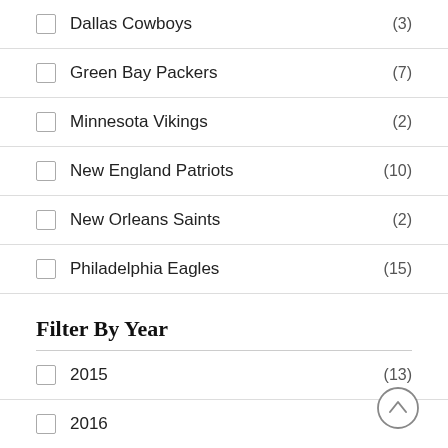Dallas Cowboys (3)
Green Bay Packers (7)
Minnesota Vikings (2)
New England Patriots (10)
New Orleans Saints (2)
Philadelphia Eagles (15)
Filter By Year
2015 (13)
2016 (9)